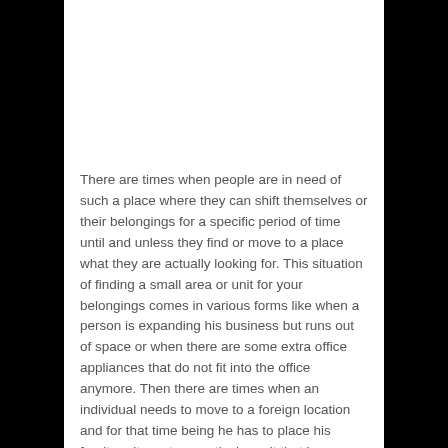There are times when people are in need of such a place where they can shift themselves or their belongings for a specific period of time until and unless they find or move to a place what they are actually looking for. This situation of finding a small area or unit for your belongings comes in various forms like when a person is expanding his business but runs out of space or when there are some extra office appliances that do not fit into the office anymore. Then there are times when an individual needs to move to a foreign location and for that time being he has to place his furniture items to a particular unit that is cheaper and secure at the same time. Well! Such a place has been introduced to us as storage units in which you can place your belongings without any fear of getting stolen. In this article; we will be discussing about one such trusted cheap storage in